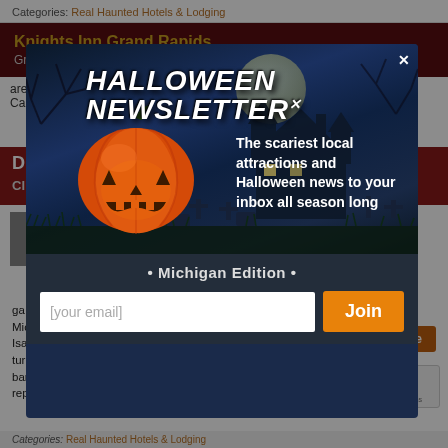Categories: Real Haunted Hotels & Lodging
Knights Inn Grand Rapids
Grand Rapids, MI
are
Ca
[Figure (screenshot): Halloween Newsletter popup modal with spooky background showing haunted house, moon, pumpkin, graveyard. Title reads HALLOWEEN NEWSLETTER with close X. Text: The scariest local attractions and Halloween news to your inbox all season long. Michigan Edition. Email input field with Join button.]
ga
Michigan's most notorious murders in 1938 where Isaiah Leebove, the former Purple Gang attorney turned Purple Gang businessman was murdered at the bar. Numerous accounts of hauntings have been reported... Read More
Categories: Real Haunted Hotels & Lodging